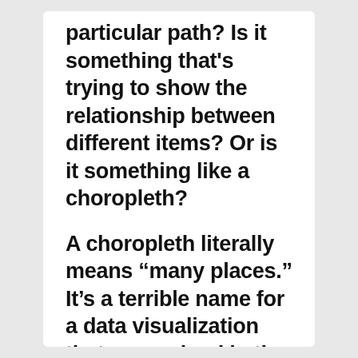particular path? Is it something that's trying to show the relationship between different items? Or is it something like a choropleth?
A choropleth literally means “many places.” It’s a terrible name for a data visualization that was coined in the 19th Century. But we are familiar with these things. I mean, the “red-blue” map or “red-blue-